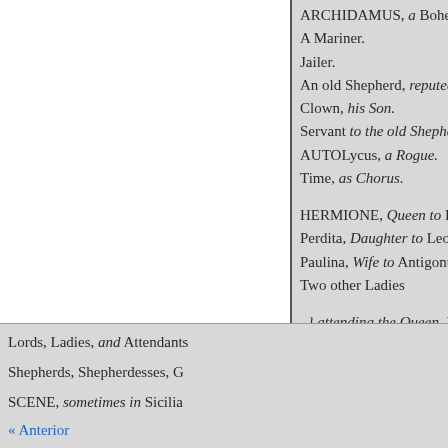ARCHIDAMUS, a Bohem
A Mariner.
Jailer.
An old Shepherd, reputed f
Clown, his Son.
Servant to the old Shepherd
AUTOLycus, a Rogue.
Time, as Chorus.
HERMIONE, Queen to L
Perdita, Daughter to Leon
Paulina, Wife to Antigonu
Two other Ladies
, } attending the Queen. D
Lords, Ladies, and Attendants
Shepherds, Shepherdesses, G
SCENE, sometimes in Sicilia
« Anterior